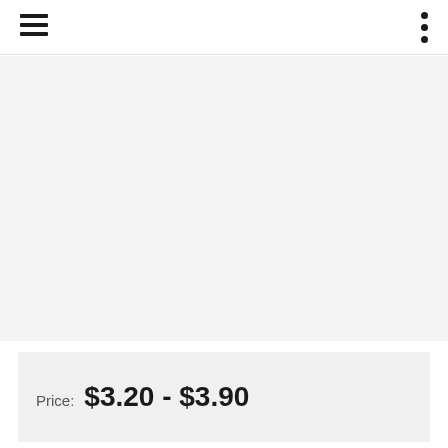[Figure (other): Hamburger menu icon (three horizontal bars) in top-left corner of navigation bar]
[Figure (other): Vertical three-dot menu icon in top-right corner of navigation bar]
Price:  $3.20 - $3.90